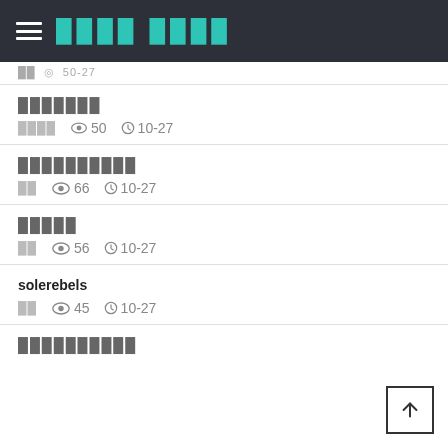≡ ████ ████
██ · ◎ 50-27
███████
████  👁 50  🕐 10-27
██████████
██  👁 66  🕐 10-27
█████
██  👁 56  🕐 10-27
solerebels
██  👁 45  🕐 10-27
██████████